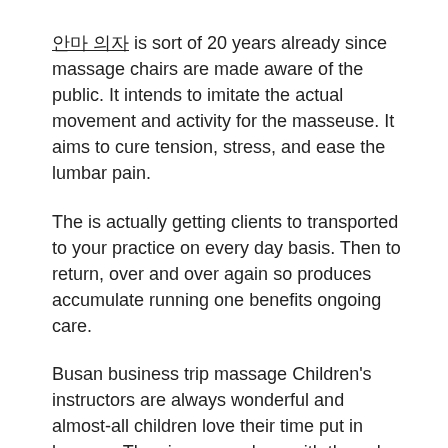안마 의자 is sort of 20 years already since massage chairs are made aware of the public. It intends to imitate the actual movement and activity for the masseuse. It aims to cure tension, stress, and ease the lumbar pain.
The is actually getting clients to transported to your practice on every day basis. Then to return, over and over again so produces accumulate running one benefits ongoing care.
Busan business trip massage Children's instructors are always wonderful and almost-all children love their time put in lessons. They improve, along with they also learn safety precautions, even even some tricks to show you!